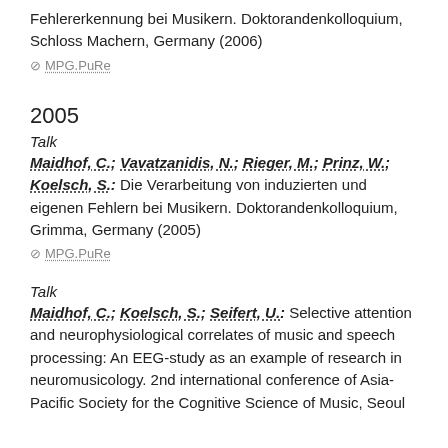Fehlererkennung bei Musikern. Doktorandenkolloquium, Schloss Machern, Germany (2006)
⊘ MPG.PuRe
2005
Talk
Maidhof, C.; Vavatzanidis, N.; Rieger, M.; Prinz, W.; Koelsch, S.: Die Verarbeitung von induzierten und eigenen Fehlern bei Musikern. Doktorandenkolloquium, Grimma, Germany (2005)
⊘ MPG.PuRe
Talk
Maidhof, C.; Koelsch, S.; Seifert, U.: Selective attention and neurophysiological correlates of music and speech processing: An EEG-study as an example of research in neuromusicology. 2nd international conference of Asia-Pacific Society for the Cognitive Science of Music, Seoul